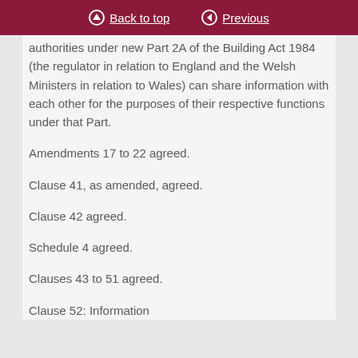Back to top | Previous
authorities under new Part 2A of the Building Act 1984 (the regulator in relation to England and the Welsh Ministers in relation to Wales) can share information with each other for the purposes of their respective functions under that Part.
Amendments 17 to 22 agreed.
Clause 41, as amended, agreed.
Clause 42 agreed.
Schedule 4 agreed.
Clauses 43 to 51 agreed.
Clause 52: Information